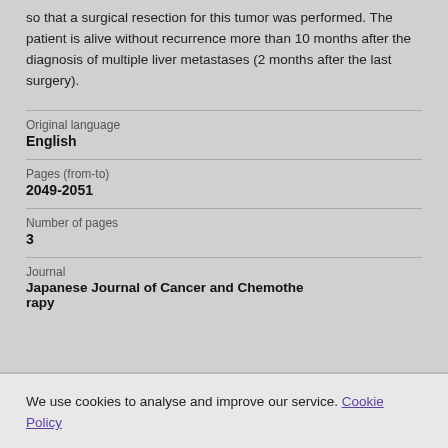so that a surgical resection for this tumor was performed. The patient is alive without recurrence more than 10 months after the diagnosis of multiple liver metastases (2 months after the last surgery).
Original language
English
Pages (from-to)
2049-2051
Number of pages
3
Journal
Japanese Journal of Cancer and Chemotherapy
We use cookies to analyse and improve our service. Cookie Policy